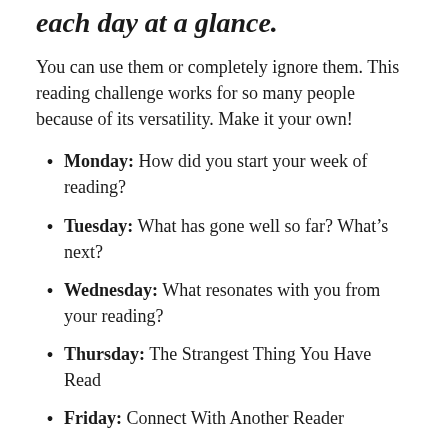each day at a glance.
You can use them or completely ignore them. This reading challenge works for so many people because of its versatility. Make it your own!
Monday: How did you start your week of reading?
Tuesday: What has gone well so far? What’s next?
Wednesday: What resonates with you from your reading?
Thursday: The Strangest Thing You Have Read
Friday: Connect With Another Reader